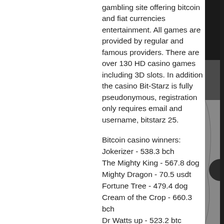gambling site offering bitcoin and fiat currencies entertainment. All games are provided by regular and famous providers. There are over 130 HD casino games including 3D slots. In addition the casino Bit-Starz is fully pseudonymous, registration only requires email and username, bitstarz 25.
Bitcoin casino winners:
Jokerizer - 538.3 bch
The Mighty King - 567.8 dog
Mighty Dragon - 70.5 usdt
Fortune Tree - 479.4 dog
Cream of the Crop - 660.3 bch
Dr Watts up - 523.2 btc
Oriental Fortune - 186.3 dog
Cyrus the Virus - 338.8 btc
Dolphin Quest - 694.9 dog
Barnyard Bonanza - 487 dog
Super Flip - 300 usdt
King of the Jungle Golden Nights - 343.3 dog
[Figure (photo): Partial view of a dark grey spherical or curved object against a dark background, visible on the right edge of the page.]